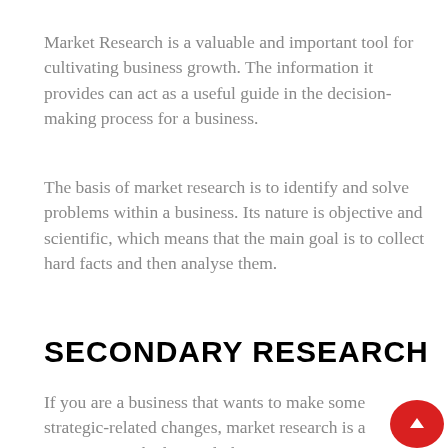Market Research is a valuable and important tool for cultivating business growth. The information it provides can act as a useful guide in the decision-making process for a business.
The basis of market research is to identify and solve problems within a business. Its nature is objective and scientific, which means that the main goal is to collect hard facts and then analyse them.
SECONDARY RESEARCH
If you are a business that wants to make some strategic-related changes, market research is a great way to shed some light o…